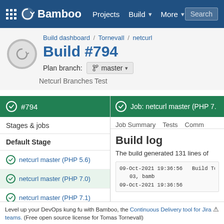Bamboo   Projects   Build   More   Search
Build dashboard / Tornevall / netcurl
Build #794
Plan branch: master
Netcurl Branches Test
#794
Job: netcurl master (PHP 7.
Stages & jobs
Default Stage
netcurl master (PHP 5.6)
netcurl master (PHP 7.0)
netcurl master (PHP 7.1)
Job Summary   Tests   Comm
Build log
The build generated 131 lines of
09-Oct-2021 19:36:56   Build To
   03, bamb
09-Oct-2021 19:36:56
Level up your DevOps kung fu with Bamboo, the Continuous Delivery tool for Jira teams. (Free open source license for Tomas Tornevall)